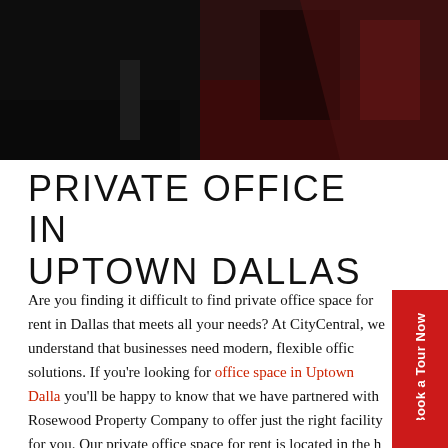[Figure (photo): Dark photograph of an office interior showing a desk and chair, partially visible, dark tones of black and dark red/brown.]
PRIVATE OFFICE IN UPTOWN DALLAS
Are you finding it difficult to find private office space for rent in Dallas that meets all your needs? At CityCentral, we understand that businesses need modern, flexible office solutions. If you're looking for office space in Uptown Dallas, you'll be happy to know that we have partnered with Rosewood Property Company to offer just the right facility for you. Our private office space for rent is located in the heart of the city at 2101 Cedar Springs Rd. From the tenth floor of Rosewood Court, you'll have a stunning view of Dallas.